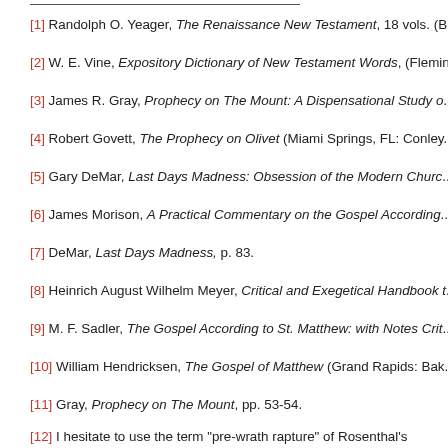[1] Randolph O. Yeager, The Renaissance New Testament, 18 vols. (B...
[2] W. E. Vine, Expository Dictionary of New Testament Words, (Flemin...
[3] James R. Gray, Prophecy on The Mount: A Dispensational Study o...
[4] Robert Govett, The Prophecy on Olivet (Miami Springs, FL: Conley...
[5] Gary DeMar, Last Days Madness: Obsession of the Modern Churc...
[6] James Morison, A Practical Commentary on the Gospel According...
[7] DeMar, Last Days Madness, p. 83.
[8] Heinrich August Wilhelm Meyer, Critical and Exegetical Handbook t...
[9] M. F. Sadler, The Gospel According to St. Matthew: with Notes Crit...
[10] William Hendricksen, The Gospel of Matthew (Grand Rapids: Bak...
[11] Gray, Prophecy on The Mount, pp. 53-54.
[12] I hesitate to use the term "pre-wrath rapture" of Rosenthal's view... refers to when the rapture will take place in relation to the seven-year...